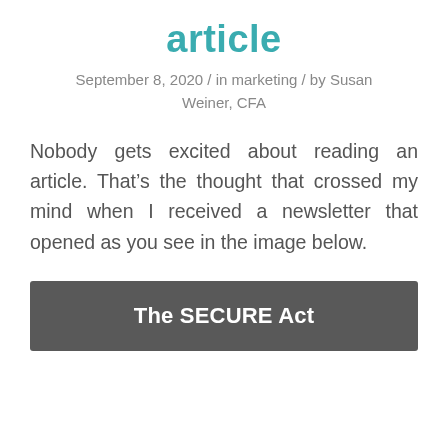article
September 8, 2020 / in marketing / by Susan Weiner, CFA
Nobody gets excited about reading an article. That’s the thought that crossed my mind when I received a newsletter that opened as you see in the image below.
[Figure (other): Dark grey banner with white bold text reading 'The SECURE Act']